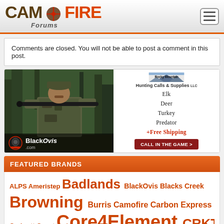CAMOFIRE Forums
Comments are closed. You will not be able to post a comment in this post.
[Figure (photo): Advertisement banner with two panels: left panel shows a hunter in camouflage gear with BlackOvis.com branding; right panel shows Rocky Mountain Hunting Calls & Supplies LLC advertisement listing Elk, Deer, Turkey, Predator, +Free Shipping with 'CALL IN THE GAME >' button.]
FEATURED BRANDS
ALPS Ameristep Badlands BlackOvis Blacks Creek Browning Burris Camofire Carbon Express Carhartt Coast Core4Element CRKT